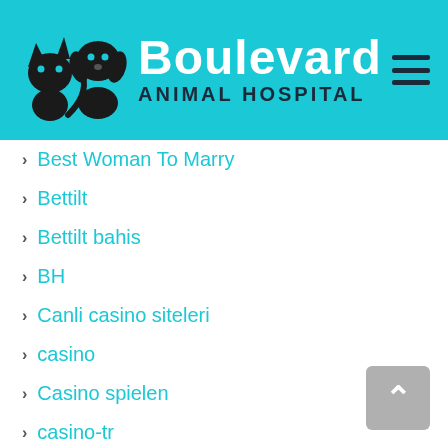Boulevard Animal Hospital
Best Woman To Marry
Bettilt
Bettilt bahis
BH
Canli casino siteleri
casino
Casino spielen
casino-tr
Dating A Foreigner
Dating Sites
Dating Sites For Marriage
Dating Stereotypes
Dll Downloads Free